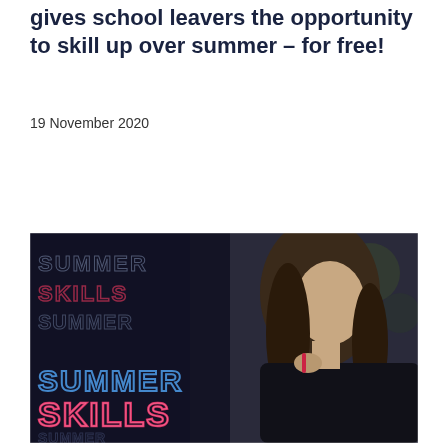gives school leavers the opportunity to skill up over summer – for free!
19 November 2020
[Figure (photo): A young woman with long hair holding a pen, looking thoughtful, with overlaid neon text reading 'SUMMER SKILLS' repeated in blue and pink/red outline lettering on a dark background.]